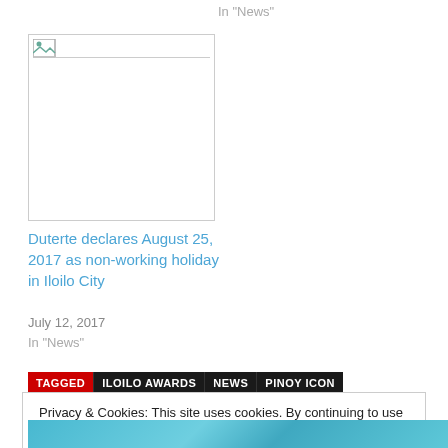In "News"
[Figure (photo): Broken image placeholder with horizontal line]
Duterte declares August 25, 2017 as non-working holiday in Iloilo City
July 12, 2017
In "News"
TAGGED  ILOILO AWARDS  NEWS  PINOY ICON
Privacy & Cookies: This site uses cookies. By continuing to use this website, you agree to their use.
To find out more, including how to control cookies, see here: Cookie Policy
Close and accept
[Figure (photo): Partial colorful image at the bottom of the page]